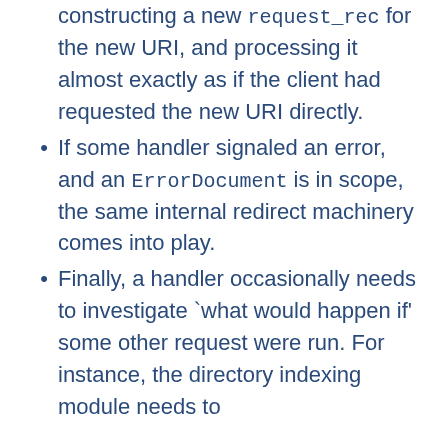constructing a new request_rec for the new URI, and processing it almost exactly as if the client had requested the new URI directly.
If some handler signaled an error, and an ErrorDocument is in scope, the same internal redirect machinery comes into play.
Finally, a handler occasionally needs to investigate `what would happen if' some other request were run. For instance, the directory indexing module needs to